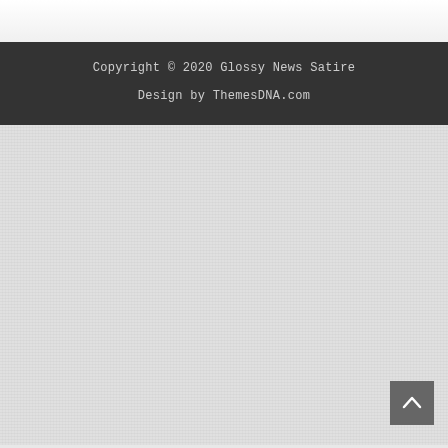Copyright © 2020 Glossy News Satire
Design by ThemesDNA.com
[Figure (other): Light grey textured background area filling the lower portion of the page, with a dark grey scroll-to-top button with an upward arrow in the bottom-right corner.]